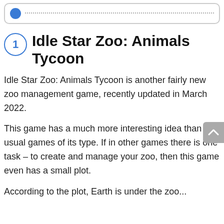.....................
1 Idle Star Zoo: Animals Tycoon
Idle Star Zoo: Animals Tycoon is another fairly new zoo management game, recently updated in March 2022.
This game has a much more interesting idea than the usual games of its type. If in other games there is one task – to create and manage your zoo, then this game even has a small plot.
According to the plot, Earth is under the zoo...